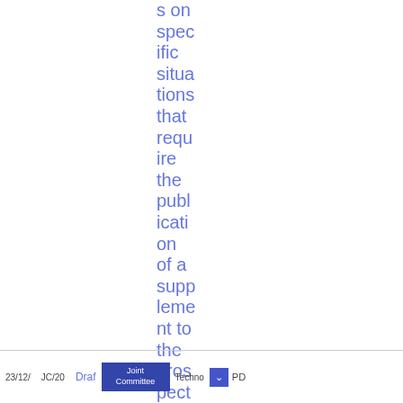s on specific situations that require the publication of a supplement to the prospectus
23/12/ JC/20 Draft Joint Committee Techno PD